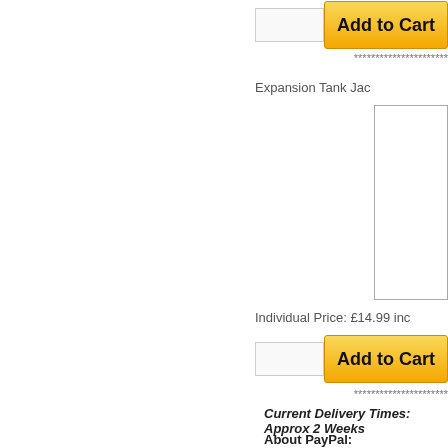[Figure (other): Add to Cart button with quantity input box (top)]
**********************
Expansion Tank Jac
[Figure (other): Product image placeholder box]
Individual Price: £14.99 inc
[Figure (other): Add to Cart button with quantity input box (bottom)]
**********************
Current Delivery Times: Approx 2 Weeks
About PayPal:
Pay with your debit or credit card as a PayP
PayPal is the internets most common payment
us by credit card, safe in the knowledge that yo
and are protected by their buyer protection sch